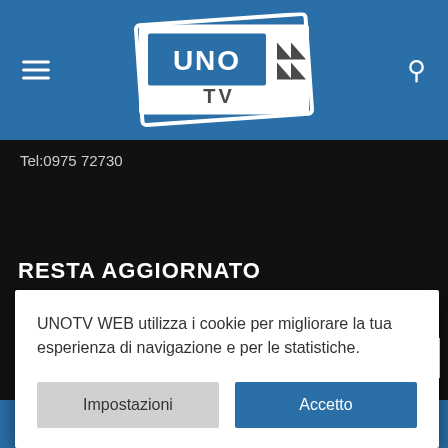[Figure (logo): UNO TV logo — white rectangular shapes with 'UNO' text and double-arrow icon, 'TV' below]
Tel:0975 72730
RESTA AGGIORNATO
AGGIORNATO SUGLI
UNOTV WEB utilizza i cookie per migliorare la tua esperienza di navigazione e per le statistiche.
Impostazioni
Accetto
ISCRIVITI